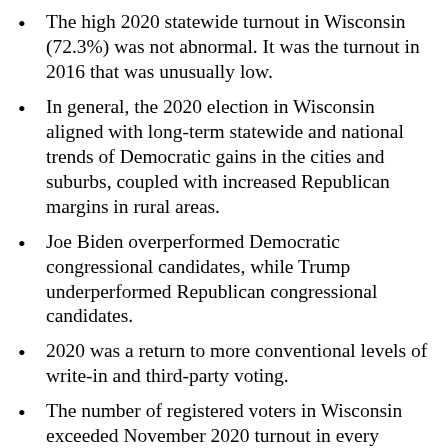The high 2020 statewide turnout in Wisconsin (72.3%) was not abnormal. It was the turnout in 2016 that was unusually low.
In general, the 2020 election in Wisconsin aligned with long-term statewide and national trends of Democratic gains in the cities and suburbs, coupled with increased Republican margins in rural areas.
Joe Biden overperformed Democratic congressional candidates, while Trump underperformed Republican congressional candidates.
2020 was a return to more conventional levels of write-in and third-party voting.
The number of registered voters in Wisconsin exceeded November 2020 turnout in every month of 2020.
A WI L poll of 3,000 absentee voters...